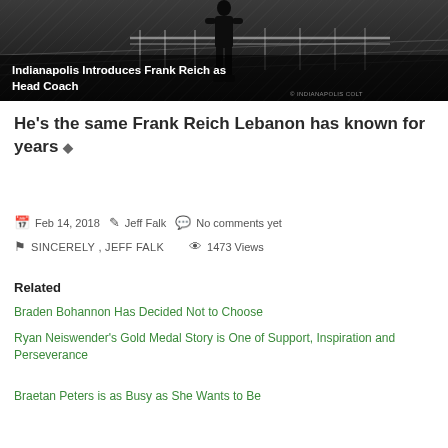[Figure (photo): Black and white photo of a person (silhouette) standing in what appears to be a football stadium/arena, viewed from behind. Text overlay reads 'Indianapolis Introduces Frank Reich as Head Coach'. Photo credit: © INDIANAPOLIS COLT]
He's the same Frank Reich Lebanon has known for years ◆
Feb 14, 2018  Jeff Falk  No comments yet
SINCERELY , JEFF FALK   1473 Views
Related
Braden Bohannon Has Decided Not to Choose
Ryan Neiswender's Gold Medal Story is One of Support, Inspiration and Perseverance
Braetan Peters is as Busy as She Wants to Be